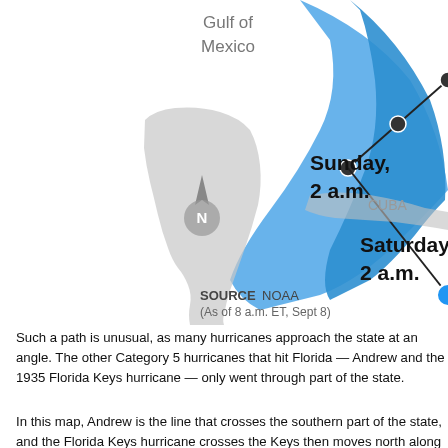[Figure (map): Hurricane tracking map showing projected path over Florida, Cuba, and Gulf of Mexico. Labels show 'Gulf of Mexico', 'Sunday, 2 a.m.', 'CUBA', 'Saturday, 2 a.m.' with blue hurricane cone band moving northwest. North arrow visible. Source: NOAA (As of 8 a.m. ET, Sept 8).]
Such a path is unusual, as many hurricanes approach the state at an angle. The other Category 5 hurricanes that hit Florida — Andrew and the 1935 Florida Keys hurricane — only went through part of the state.
In this map, Andrew is the line that crosses the southern part of the state, and the Florida Keys hurricane crosses the Keys then moves north along Flor...
[Figure (map): Satellite aerial map showing southeastern United States including Pensacola, Tallahassee, and Valdosta with a yellow projected hurricane path line moving northward through the region.]